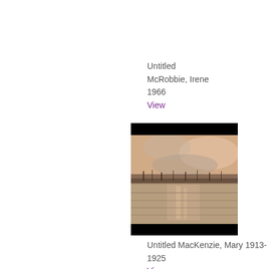Untitled
McRobbie, Irene
1966
View
[Figure (photo): Painting of a landscape with a sunset over water, showing silhouettes of trees or reeds along a horizon line with warm peachy pink and grey tones reflected in the water below. Black bars at top and bottom of the image frame.]
Untitled
MacKenzie, Mary
1913-1925
View